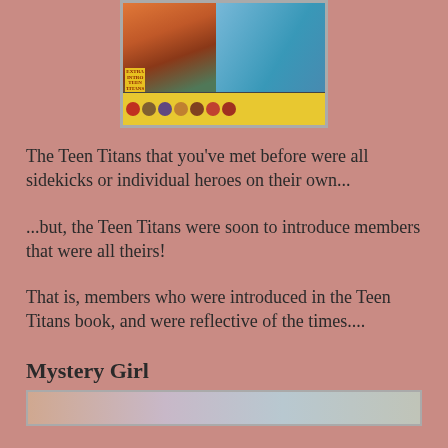[Figure (illustration): Comic book cover or interior art showing Teen Titans characters, with action scene on top and character portraits strip at bottom]
The Teen Titans that you've met before were all sidekicks or individual heroes on their own...
...but, the Teen Titans were soon to introduce members that were all theirs!
That is, members who were introduced in the Teen Titans book, and were reflective of the times....
Mystery Girl
[Figure (photo): Bottom cropped image, partially visible]